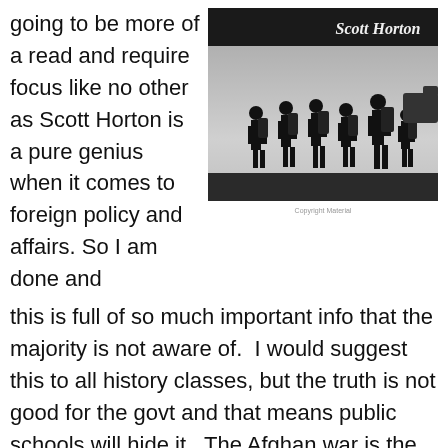going to be more of a read and require focus like no other as Scott Horton is a pure genius when it comes to foreign policy and affairs. So I am done and
[Figure (photo): Book cover showing silhouettes of soldiers marching with backpacks against a grey sky, with author name 'Scott Horton' in italic text on a dark banner at the top.]
this is full of so much important info that the majority is not aware of.  I would suggest this to all history classes, but the truth is not good for the govt and that means public schools will hide it.  The Afghan war is the longest in history and we already spent over 1 trillion dollars on a war the leaders know cannot be won.  There is nothing to win in the first place.